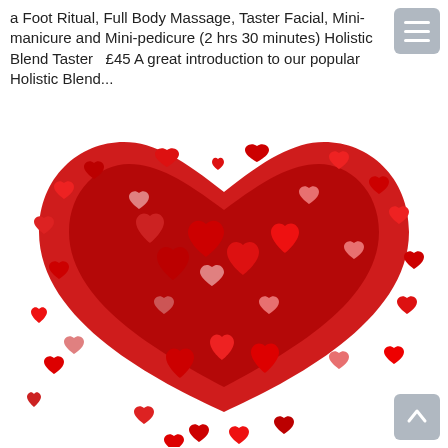a Foot Ritual, Full Body Massage, Taster Facial, Mini-manicure and Mini-pedicure (2 hrs 30 minutes) Holistic Blend Taster  £45 A great introduction to our popular Holistic Blend...
[Figure (photo): A large decorative heart shape composed of many smaller red, dark red, and pink hearts of various sizes, arranged into a heart silhouette against a white background.]